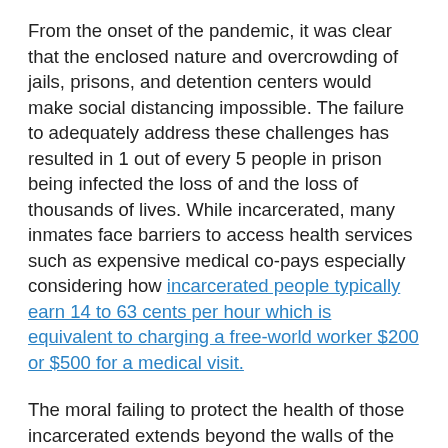From the onset of the pandemic, it was clear that the enclosed nature and overcrowding of jails, prisons, and detention centers would make social distancing impossible. The failure to adequately address these challenges has resulted in 1 out of every 5 people in prison being infected the loss of and the loss of thousands of lives. While incarcerated, many inmates face barriers to access health services such as expensive medical co-pays especially considering how incarcerated people typically earn 14 to 63 cents per hour which is equivalent to charging a free-world worker $200 or $500 for a medical visit.
The moral failing to protect the health of those incarcerated extends beyond the walls of the prison as upon release returning citizens face intersecting obstacles of low wages, lack of affordable housing, and barriers to government sponsored safety net